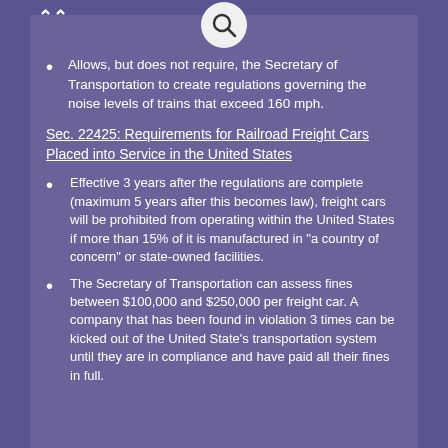Allows, but does not require, the Secretary of Transportation to create regulations governing the noise levels of trains that exceed 160 mph.
Sec. 22425: Requirements for Railroad Freight Cars Placed into Service in the United States
Effective 3 years after the regulations are complete (maximum 5 years after this becomes law), freight cars will be prohibited from operating within the United States if more than 15% of it is manufactured in "a country of concern" or state-owned facilities.
The Secretary of Transportation can assess fines between $100,000 and $250,000 per freight car. A company that has been found in violation 3 times can be kicked out of the United State's transportation system until they are in compliance and have paid all their fines in full.